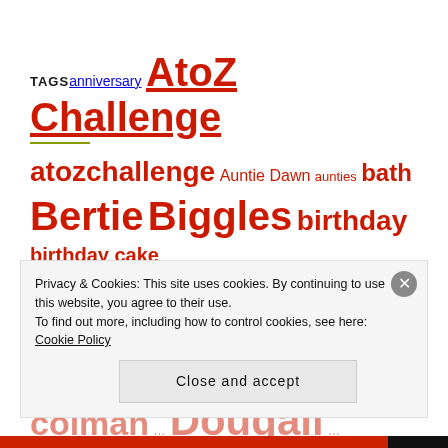TAGS anniversary AtoZ Challenge atozchallenge Auntie Dawn aunties bath Bertie Biggles birthday birthday cake birthday party blogging boar behaviour breakfast builders changing cages christmas Christmas presents colman ... Dougall ...
Privacy & Cookies: This site uses cookies. By continuing to use this website, you agree to their use. To find out more, including how to control cookies, see here: Cookie Policy
Close and accept